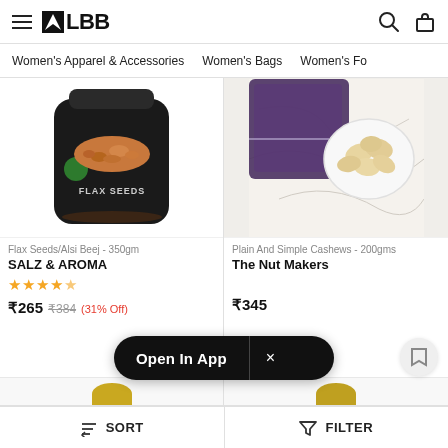LBB — navigation header with hamburger menu, LBB logo, search and bag icons
Women's Apparel & Accessories   Women's Bags   Women's Fo…
[Figure (photo): Product image of Flax Seeds/Alsi Beej in a dark jar with orange flax seeds shown on top, label reads FLAX SEEDS]
Flax Seeds/Alsi Beej - 350gm
SALZ & AROMA
★★★★½
₹265  ₹384  (31% Off)
[Figure (photo): Product image of Plain And Simple Cashews in a purple/violet bag with cashews shown in a white bowl on marble surface]
Plain And Simple Cashews - 200gms
The Nut Makers
₹345
Open In App  ×
SORT   FILTER